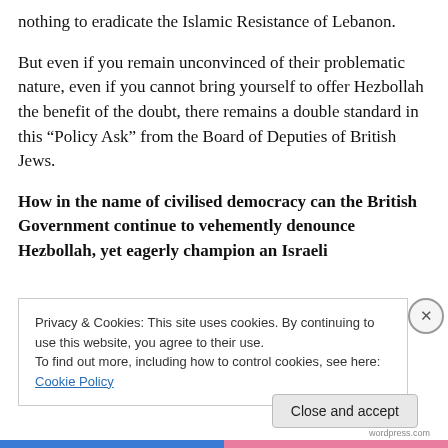nothing to eradicate the Islamic Resistance of Lebanon.
But even if you remain unconvinced of their problematic nature, even if you cannot bring yourself to offer Hezbollah the benefit of the doubt, there remains a double standard in this “Policy Ask” from the Board of Deputies of British Jews.
How in the name of civilised democracy can the British Government continue to vehemently denounce Hezbollah, yet eagerly champion an Israeli
Privacy & Cookies: This site uses cookies. By continuing to use this website, you agree to their use.
To find out more, including how to control cookies, see here: Cookie Policy
Close and accept